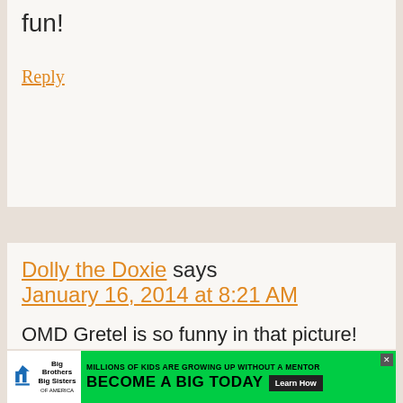fun!
Reply
Dolly the Doxie says January 16, 2014 at 8:21 AM
OMD Gretel is so funny in that picture! Looks like a lovely walk! We have botanic gardens too but I don't think dogs are allowed, too bad! Love Dolly
[Figure (screenshot): Advertisement banner for Big Brothers Big Sisters: 'Millions of kids are growing up without a mentor. Become a Big Today' with Learn How button]